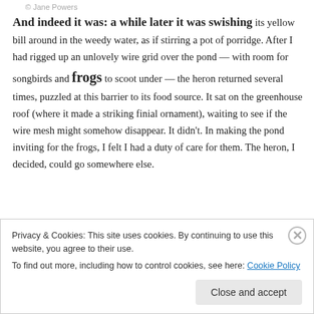© Jane Powers
And indeed it was: a while later it was swishing its yellow bill around in the weedy water, as if stirring a pot of porridge. After I had rigged up an unlovely wire grid over the pond — with room for songbirds and frogs to scoot under — the heron returned several times, puzzled at this barrier to its food source. It sat on the greenhouse roof (where it made a striking finial ornament), waiting to see if the wire mesh might somehow disappear. It didn't. In making the pond inviting for the frogs, I felt I had a duty of care for them. The heron, I decided, could go somewhere else.
Privacy & Cookies: This site uses cookies. By continuing to use this website, you agree to their use.
To find out more, including how to control cookies, see here: Cookie Policy